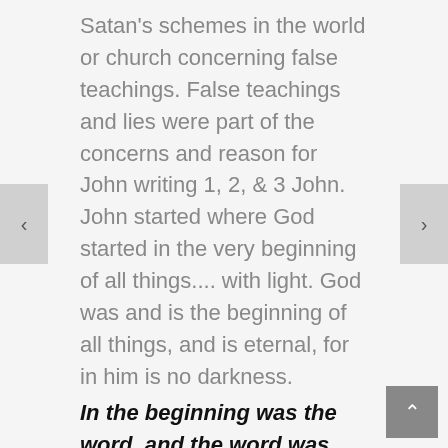Satan's schemes in the world or church concerning false teachings. False teachings and lies were part of the concerns and reason for John writing 1, 2, & 3 John. John started where God started in the very beginning of all things.... with light. God was and is the beginning of all things, and is eternal, for in him is no darkness.
In the beginning was the word, and the word was with God, and the word was God. He was in the beginning with God. All things were made through him, and without him was not anything made that was made. In him was life, and the life was the LIGHT of men. The LIGHT shines in the